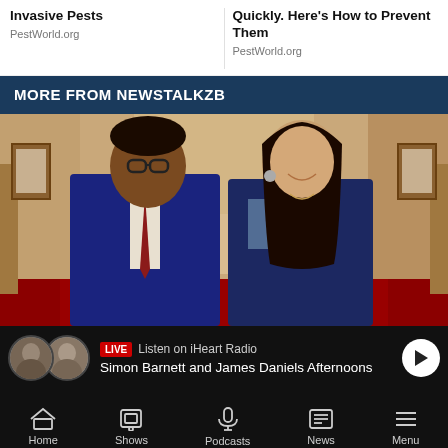Invasive Pests
PestWorld.org
Quickly. Here's How to Prevent Them
PestWorld.org
MORE FROM NEWSTALKZB
[Figure (photo): Two people smiling in a formal corridor: a man in a dark suit with glasses and a red tie on the left, and a woman in a dark blazer with long dark hair on the right. The corridor has an arched ceiling and artwork on the walls.]
LIVE  Listen on iHeart Radio
Simon Barnett and James Daniels Afternoons
Home
Shows
Podcasts
News
Menu